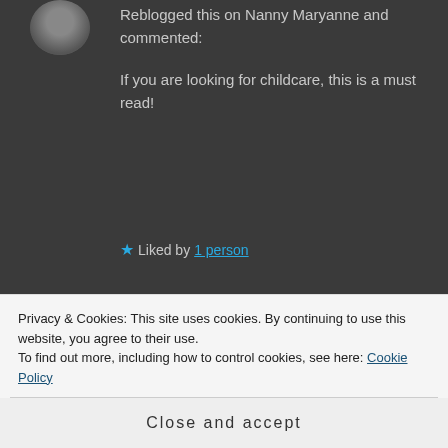Reblogged this on Nanny Maryanne and commented:
If you are looking for childcare, this is a must read!
★ Liked by 1 person
RIVER says:  January 5, 2019 at 5:37 pm  ↩ Reply
Privacy & Cookies: This site uses cookies. By continuing to use this website, you agree to their use.
To find out more, including how to control cookies, see here: Cookie Policy
Close and accept